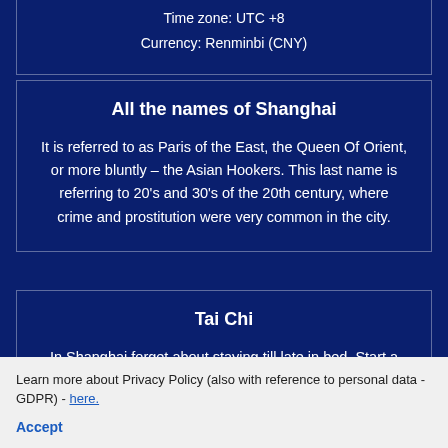Time zone: UTC +8
Currency: Renminbi (CNY)
All the names of Shanghai
It is referred to as Paris of the East, the Queen Of Orient, or more bluntly – the Asian Hookers. This last name is referring to 20's and 30's of the 20th century, where crime and prostitution were very common in the city.
Tai Chi
In Shanghai forget about staying till late in bed. Start a day like locals do – practicing Tai Chi in a public place. The most popular one is a boardwalk on the right bank of Huangpu.
Learn more about Privacy Policy (also with reference to personal data - GDPR) - here.
Accept